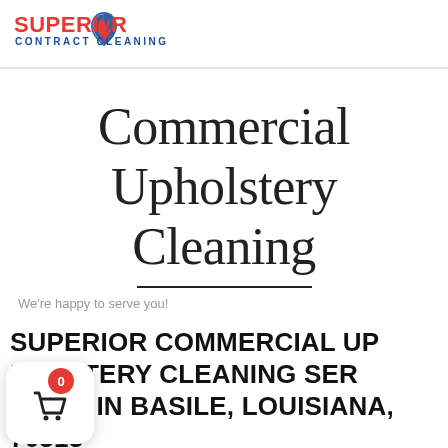[Figure (logo): Superior Contract Cleaning logo with flame/water drop icon, red text 'SUPERIOR' and blue text 'CONTRACT CLEANING']
Commercial Upholstery Cleaning
We're happy to serve you!
SUPERIOR COMMERCIAL UPHOLSTERY CLEANING SERVICES IN BASILE, LOUISIANA, 70515